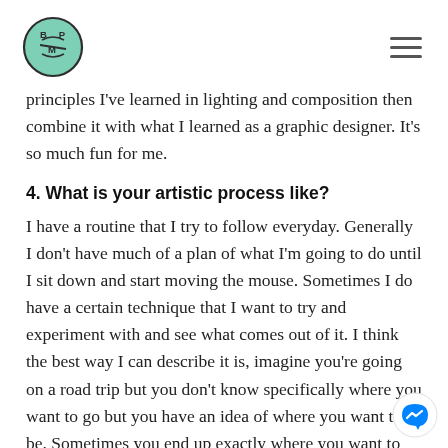BPM logo and navigation
principles I've learned in lighting and composition then combine it with what I learned as a graphic designer. It's so much fun for me.
4. What is your artistic process like?
I have a routine that I try to follow everyday. Generally I don't have much of a plan of what I'm going to do until I sit down and start moving the mouse. Sometimes I do have a certain technique that I want to try and experiment with and see what comes out of it. I think the best way I can describe it is, imagine you're going on a road trip but you don't know specifically where you want to go but you have an idea of where you want to be. Sometimes you end up exactly where you want to go, or